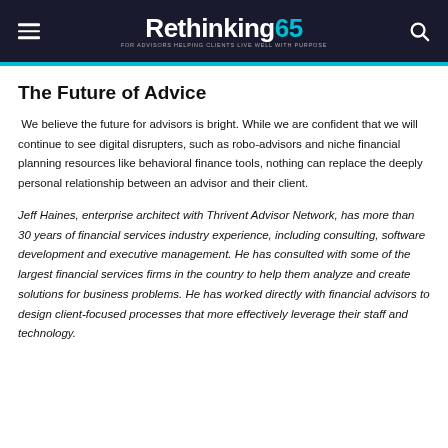Rethinking65 — FOR ADVISORS HELPING CLIENTS LIVE WELL WITH PURPOSE
The Future of Advice
We believe the future for advisors is bright. While we are confident that we will continue to see digital disrupters, such as robo-advisors and niche financial planning resources like behavioral finance tools, nothing can replace the deeply personal relationship between an advisor and their client.
Jeff Haines, enterprise architect with Thrivent Advisor Network, has more than 30 years of financial services industry experience, including consulting, software development and executive management. He has consulted with some of the largest financial services firms in the country to help them analyze and create solutions for business problems. He has worked directly with financial advisors to design client-focused processes that more effectively leverage their staff and technology.